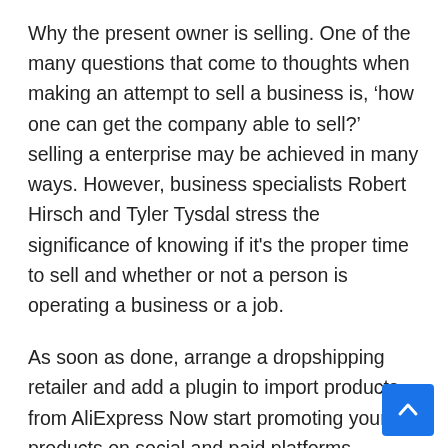Why the present owner is selling. One of the many questions that come to thoughts when making an attempt to sell a business is, ‘how one can get the company able to sell?’ selling a enterprise may be achieved in many ways. However, business specialists Robert Hirsch and Tyler Tysdal stress the significance of knowing if it's the proper time to sell and whether or not a person is operating a business or a job.
As soon as done, arrange a dropshipping retailer and add a plugin to import products from AliExpress Now start promoting your products on social and paid platforms. business broker All the advantages we mentioned make dropshipping a very engaging mannequin for